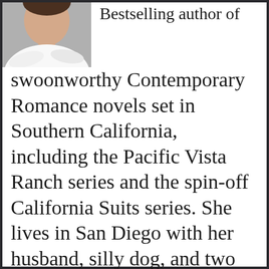[Figure (photo): Author photo cropped at top — person in white shirt, upper body visible, arms crossed or folded.]
Bestselling author of swoonworthy Contemporary Romance novels set in Southern California, including the Pacific Vista Ranch series and the spin-off California Suits series. She lives in San Diego with her husband, silly dog, and two clever cats.